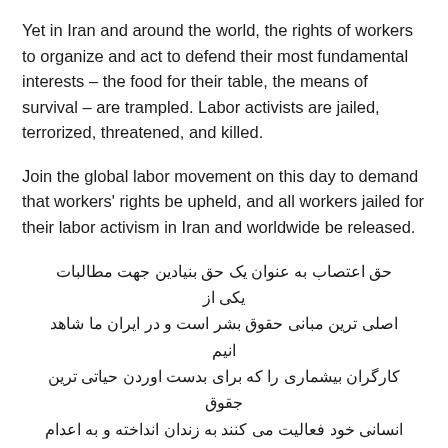Yet in Iran and around the world, the rights of workers to organize and act to defend their most fundamental interests – the food for their table, the means of survival – are trampled. Labor activists are jailed, terrorized, threatened, and killed.
Join the global labor movement on this day to demand that workers' rights be upheld, and all workers jailed for their labor activism in Iran and worldwide be released.
حق اعتصاب به عنوان یک حق بنیادین جهت مطالبات یکی از اصلی ترین مبانی حقوق بشر است و در ایران ما شاهد انیم کارگران بیشماری را که برای بدست اوردن حیاتی ترین جقوق انسانی خود فعالیت می کنند به زندان انداخته و به اعدام محکوم می کنند.
در روز جهانی دفاع از حق اعتصاب به دفاع از کارگران بر خیزیم